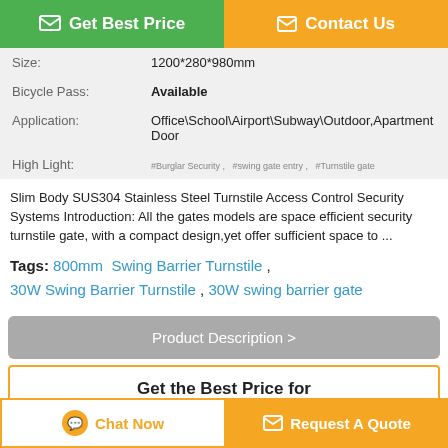Get Best Price
Contact Us
| Size: | 1200*280*980mm |
| Bicycle Pass: | Available |
| Application: | Office\School\Airport\Subway\Outdoor,Apartment Door |
| High Light: | #Burglar Security , #swing gate entry , #Turnstile gate |
Slim Body SUS304 Stainless Steel Turnstile Access Control Security Systems Introduction: All the gates models are space efficient security turnstile gate, with a compact design,yet offer sufficient space to ...
Tags: 800mm  Swing Barrier Turnstile , 30W Swing Barrier Turnstile , 30W swing barrier gate
Product Description >
Get the Best Price for
IP65 Swing Barrier Turnstile
Chat Now
Request A Quote